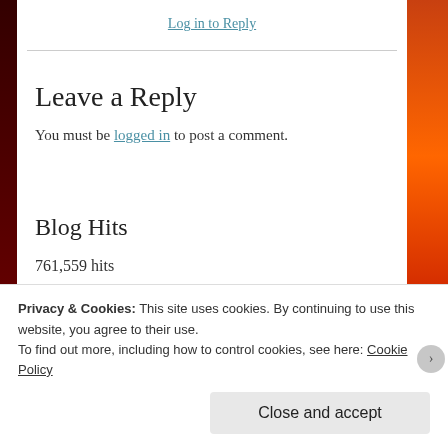Log in to Reply
Leave a Reply
You must be logged in to post a comment.
Blog Hits
761,559 hits
Privacy & Cookies: This site uses cookies. By continuing to use this website, you agree to their use.
To find out more, including how to control cookies, see here: Cookie Policy
Close and accept